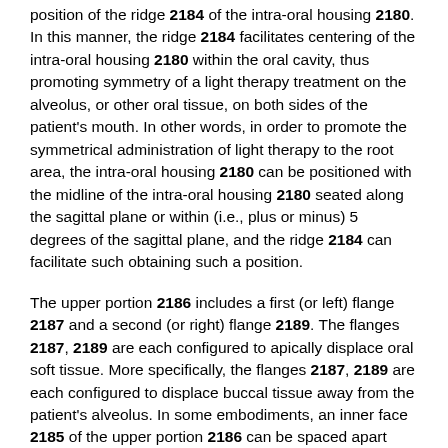position of the ridge 2184 of the intra-oral housing 2180. In this manner, the ridge 2184 facilitates centering of the intra-oral housing 2180 within the oral cavity, thus promoting symmetry of a light therapy treatment on the alveolus, or other oral tissue, on both sides of the patient's mouth. In other words, in order to promote the symmetrical administration of light therapy to the root area, the intra-oral housing 2180 can be positioned with the midline of the intra-oral housing 2180 seated along the sagittal plane or within (i.e., plus or minus) 5 degrees of the sagittal plane, and the ridge 2184 can facilitate such obtaining such a position.
The upper portion 2186 includes a first (or left) flange 2187 and a second (or right) flange 2189. The flanges 2187, 2189 are each configured to apically displace oral soft tissue. More specifically, the flanges 2187, 2189 are each configured to displace buccal tissue away from the patient's alveolus. In some embodiments, an inner face 2185 of the upper portion 2186 can be spaced apart from the patient's alveolar tissue when the intra-oral housing 2180 is disposed within the patient's mouth and the flanges 2187, 2189 are displacing the buccal tissue. In